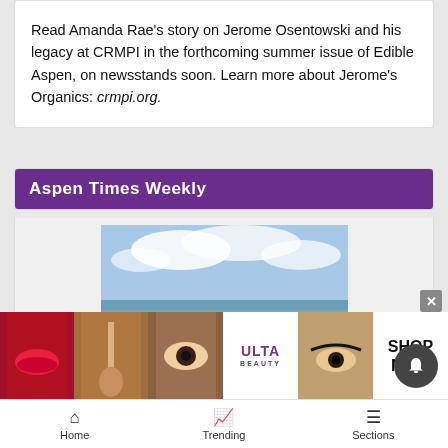Read Amanda Rae's story on Jerome Osentowski and his legacy at CRMPI in the forthcoming summer issue of Edible Aspen, on newsstands soon. Learn more about Jerome's Organics: crmpi.org.
Aspen Times Weekly
[Figure (photo): Beach scene with rocks, sand, ocean waves, and cloudy sky]
[Figure (photo): Advertisement banner with makeup/beauty imagery: lips, brush, eye, Ulta Beauty logo, eyebrow, SHOP NOW]
Home   Trending   Sections